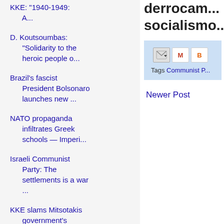KKE: "1940-1949: A...
D. Koutsoumbas: "Solidarity to the heroic people o...
Brazil's fascist President Bolsonaro launches new ...
NATO propaganda infiltrates Greek schools — Imperi...
Israeli Communist Party: The settlements is a war ...
KKE slams Mitsotakis government's measures for the...
GREECE: Massive anti-imperialist rally in honor of...
derrocam... socialismo...
[Figure (screenshot): Share icons: email forward, Gmail, Blogger]
Tags Communist P...
Newer Post